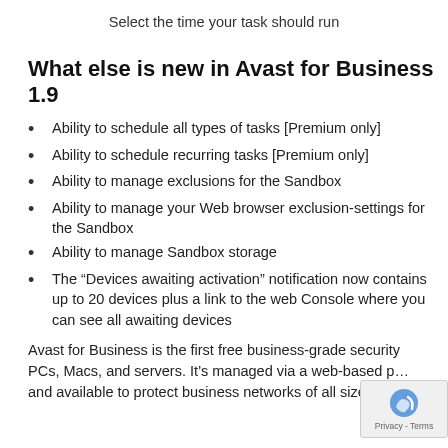Select the time your task should run
What else is new in Avast for Business 1.9
Ability to schedule all types of tasks [Premium only]
Ability to schedule recurring tasks [Premium only]
Ability to manage exclusions for the Sandbox
Ability to manage your Web browser exclusion-settings for the Sandbox
Ability to manage Sandbox storage
The “Devices awaiting activation” notification now contains up to 20 devices plus a link to the web Console where you can see all awaiting devices
Avast for Business is the first free business-grade security for PCs, Macs, and servers. It’s managed via a web-based p… and available to protect business networks of all sizes. Learn